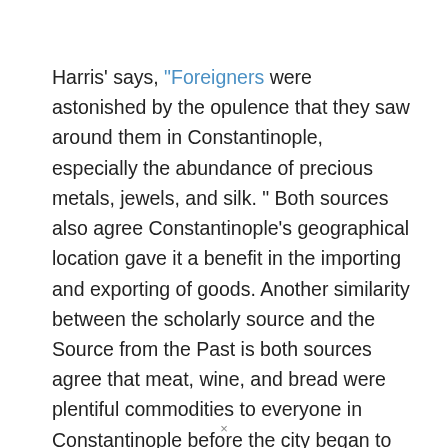Harris' says, "Foreigners were astonished by the opulence that they saw around them in Constantinople, especially the abundance of precious metals, jewels, and silk. " Both sources also agree Constantinople's geographical location gave it a benefit in the importing and exporting of goods. Another similarity between the scholarly source and the Source from the Past is both sources agree that meat, wine, and bread were plentiful commodities to everyone in Constantinople before the city began to increase in population and after aqueducts were created.
×